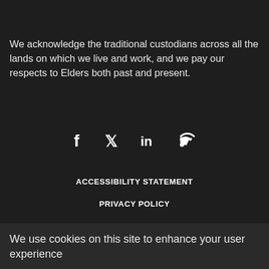We acknowledge the traditional custodians across all the lands on which we live and work, and we pay our respects to Elders both past and present.
[Figure (infographic): Social media icons: Facebook (f), Twitter (bird), LinkedIn (in), RSS feed]
ACCESSIBILITY STATEMENT
PRIVACY POLICY
CONTACT US
ABN: 211 631 379 79
We use cookies on this site to enhance your user experience